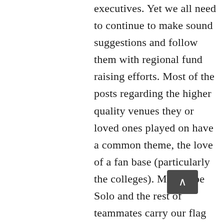executives. Yet we all need to continue to make sound suggestions and follow them with regional fund raising efforts. Most of the posts regarding the higher quality venues they or loved ones played on have a common theme, the love of a fan base (particularly the colleges). May Hope Solo and the rest of teammates carry our flag far this Olympics, and may we the fans find ways to "take it from